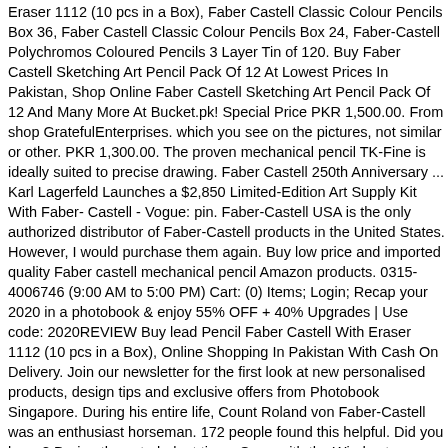Eraser 1112 (10 pcs in a Box), Faber Castell Classic Colour Pencils Box 36, Faber Castell Classic Colour Pencils Box 24, Faber-Castell Polychromos Coloured Pencils 3 Layer Tin of 120. Buy Faber Castell Sketching Art Pencil Pack Of 12 At Lowest Prices In Pakistan, Shop Online Faber Castell Sketching Art Pencil Pack Of 12 And Many More At Bucket.pk! Special Price PKR 1,500.00. From shop GratefulEnterprises. which you see on the pictures, not similar or other. PKR 1,300.00. The proven mechanical pencil TK-Fine is ideally suited to precise drawing. Faber Castell 250th Anniversary ... Karl Lagerfeld Launches a $2,850 Limited-Edition Art Supply Kit With Faber- Castell - Vogue: pin. Faber-Castell USA is the only authorized distributor of Faber-Castell products in the United States. However, I would purchase them again. Buy low price and imported quality Faber castell mechanical pencil Amazon products. 0315-4006746 (9:00 AM to 5:00 PM) Cart: (0) Items; Login; Recap your 2020 in a photobook & enjoy 55% OFF + 40% Upgrades | Use code: 2020REVIEW Buy lead Pencil Faber Castell With Eraser 1112 (10 pcs in a Box), Online Shopping In Pakistan With Cash On Delivery. Join our newsletter for the first look at new personalised products, design tips and exclusive offers from Photobook Singapore. During his entire life, Count Roland von Faber-Castell was an enthusiast horseman. 172 people found this helpful. Did you know? During these turbulent times Gone with the Wind set a record for Academy Award with eight wins and 13 nominations The castle in Stein at the same time